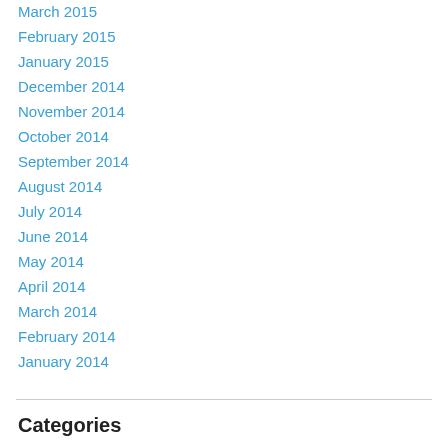March 2015
February 2015
January 2015
December 2014
November 2014
October 2014
September 2014
August 2014
July 2014
June 2014
May 2014
April 2014
March 2014
February 2014
January 2014
Categories
Uncategorized